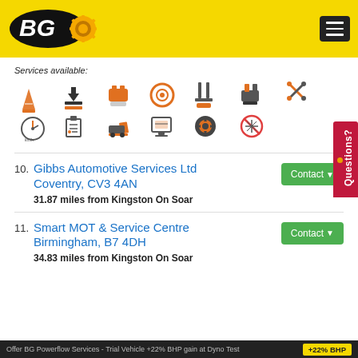[Figure (logo): BG logo on yellow header with hamburger menu icon]
Services available:
[Figure (infographic): Grid of automotive service icons: transmission, download, battery/filter, wheel/tyre, suspension, engine, tools, speedometer, checklist, car service, diagnostic, gear, fan/no-AC]
10. Gibbs Automotive Services Ltd Coventry, CV3 4AN
31.87 miles from Kingston On Soar
Contact
11. Smart MOT & Service Centre Birmingham, B7 4DH
34.83 miles from Kingston On Soar
Contact
Offer BG Powerflow Services - Trial Vehicle +22% BHP gain at Dyno Test   +22% BHP